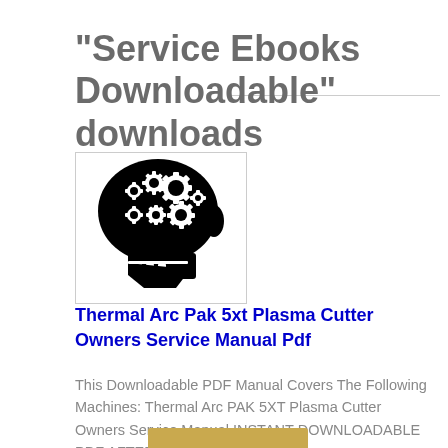"Service Ebooks Downloadable" downloads
[Figure (illustration): Black silhouette of a human skull profile with white gear/cog icons visible in the brain area, representing mechanical knowledge or service manuals.]
Thermal Arc Pak 5xt Plasma Cutter Owners Service Manual Pdf
This Downloadable PDF Manual Covers The Following Machines: Thermal Arc PAK 5XT Plasma Cutter Owners Service Manual INSTANT DOWNLOADABLE PDF AFTER...